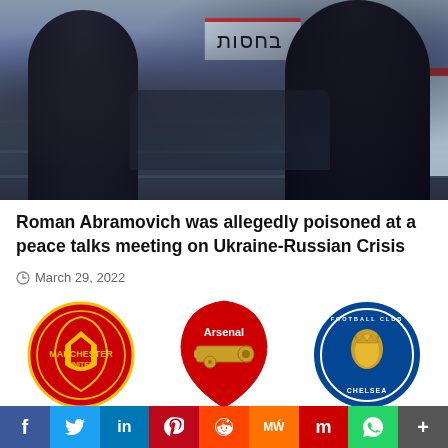[Figure (photo): Photo of people in winter coats in what appears to be an indoor public space, with a sign in Hebrew text visible in the background.]
Roman Abramovich was allegedly poisoned at a peace talks meeting on Ukraine-Russian Crisis
March 29, 2022
[Figure (logo): Manchester United FC logo]
[Figure (logo): Arsenal FC logo]
[Figure (logo): Chelsea FC logo]
[Figure (infographic): Social media share buttons: Facebook, Twitter, LinkedIn, Pinterest, Reddit, MeWe, Mix, WhatsApp, More]